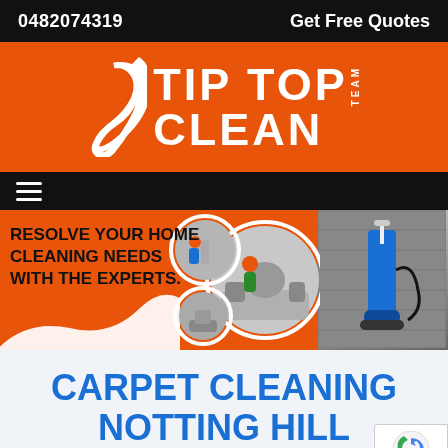0482074319   Get Free Quotes
[Figure (logo): Tip Top Clean Team logo — white swoosh/hook icon on orange background with bold white text 'TIP TOP CLEAN TEAM']
[Figure (infographic): Hero banner: orange background with bold black text 'RESOLVE YOUR HOME CLEANING NEEDS WITH THE EXPERTS.' and circular inset photos of cleaning professionals, plus carpet cleaning machine photo on right]
CARPET CLEANING NOTTING HILL
Home /   Carpet Cleaning Victoria /   Carpet Cleaning No...